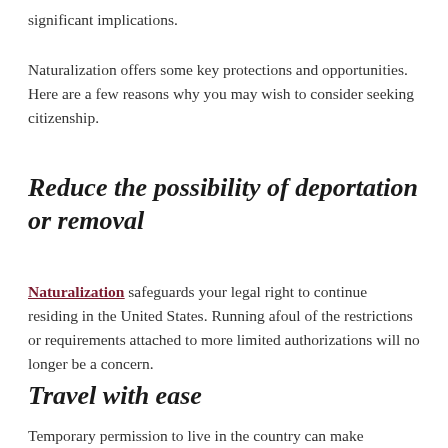significant implications.
Naturalization offers some key protections and opportunities. Here are a few reasons why you may wish to consider seeking citizenship.
Reduce the possibility of deportation or removal
Naturalization safeguards your legal right to continue residing in the United States. Running afoul of the restrictions or requirements attached to more limited authorizations will no longer be a concern.
Travel with ease
Temporary permission to live in the country can make